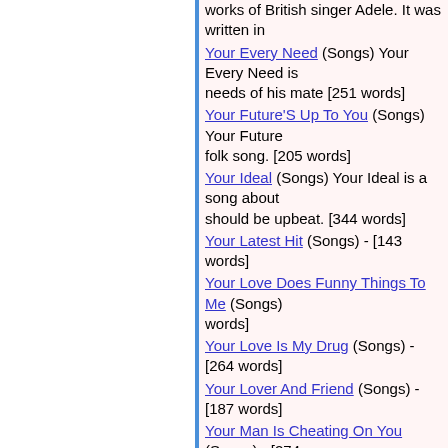works of British singer Adele. It was written in...
Your Every Need (Songs) Your Every Need is... needs of his mate [251 words]
Your Future'S Up To You (Songs) Your Future... folk song. [205 words]
Your Ideal (Songs) Your Ideal is a song about... should be upbeat. [344 words]
Your Latest Hit (Songs) - [143 words]
Your Love Does Funny Things To Me (Songs)... words]
Your Love Is My Drug (Songs) - [264 words]
Your Lover And Friend (Songs) - [187 words]
Your Man Is Cheating On You (Songs) - [274...
Your Pretty Face (Songs) - [122 words]
Your Purpose Is... (Songs) Your Purpose Is... musical catalog. [222 words]
Your Sloppy'S Showin' (Songs) Your Sloppy's... escapades of golfer Tiger Woods. [341 words]
Your Songbook Diary (Songs) Your Songbook... Taylor Swift's ex-boyfriends. [275 words]
Your Sudden Change Of Heart (Songs) Your S... female's perspective and speaks for itself. [35...
Your Tired, Your Weak Or Your Poor (Poetry)
Your Unconditional Love (Songs) Unconditional... us. [254 words]
You're A Masterpiece (Songs) - [207 words]
You'Re About To Be My Ruin (Songs) - [210...